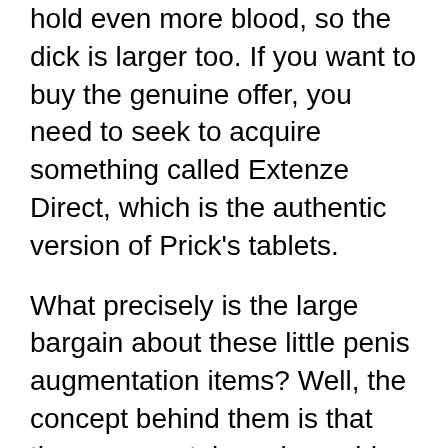hold even more blood, so the dick is larger too. If you want to buy the genuine offer, you need to seek to acquire something called Extenze Direct, which is the authentic version of Prick's tablets.
What precisely is the large bargain about these little penis augmentation items? Well, the concept behind them is that there are certain amino acids, which when combined with the appropriate diet (you know, all of those nutrients that improve your basic well being) works to normally raise the dimension, health as well as sex-related performance. It is assumed that a penis made larger by Extenze, will have better nerve endings and have the ability to really feel sex-related enhancement effects, just